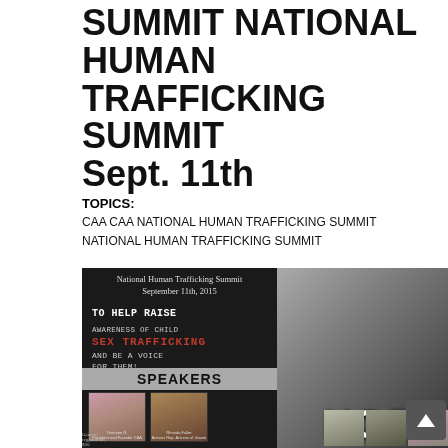SUMMIT NATIONAL HUMAN TRAFFICKING SUMMIT Sept. 11th
TOPICS:
CAA CAA NATIONAL HUMAN TRAFFICKING SUMMIT NATIONAL HUMAN TRAFFICKING SUMMIT
[Figure (photo): Event flyer for National Human Trafficking Summit September 11th, 2015. Left dark panel with text: TO HELP RAISE AWARENESS OF CHILD SEX TRAFFICKING AND BE A VOICE FOR THEM! SPEAKERS section with two speaker photos and captions. Right panel shows black-and-white photo of a person with knees up and text HOPE overlaid. Bottom row shows three additional speaker photos. General registration $50.]